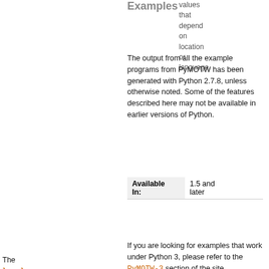Examples
values that depend on location or language.
The output from all the example programs from PyMOTW has been generated with Python 2.7.8, unless otherwise noted. Some of the features described here may not be available in earlier versions of Python.
| Available In: | 1.5 and later |
If you are looking for examples that work under Python 3, please refer to the PyMOTW-3 section of the site.
The locale module is part of Python's internationalization and localization support library. It provides
[Figure (photo): Book cover: 'The Python 3 Standard Library by Example' by Doug Hellmann, with blue cover design]